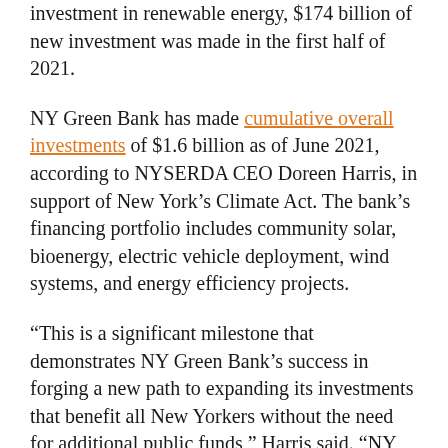investment in renewable energy, $174 billion of new investment was made in the first half of 2021.
NY Green Bank has made cumulative overall investments of $1.6 billion as of June 2021, according to NYSERDA CEO Doreen Harris, in support of New York’s Climate Act. The bank’s financing portfolio includes community solar, bioenergy, electric vehicle deployment, wind systems, and energy efficiency projects.
“This is a significant milestone that demonstrates NY Green Bank’s success in forging a new path to expanding its investments that benefit all New Yorkers without the need for additional public funds,” Harris said. “NY Green Bank’s continued leadership in mobilizing private sector capital into clean energy markets highlights its essential role